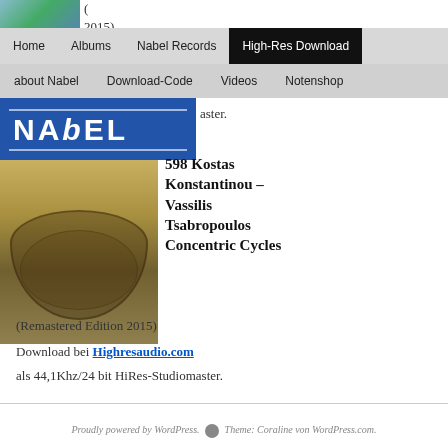[Figure (photo): Partial album cover image top left with colorful background]
(
2015)
Home | Albums | Nabel Records | High-Res Download | about Nabel | Download-Code | Videos | Notenshop
[Figure (logo): Nabel Records logo - white text on blue background]
aster.
[Figure (photo): Album cover for Concentric Cycles - brown/golden textured image]
598 Kostas Konstantinou – Vassilis Tsabropoulos Concentric Cycles
(Remastered Edition 2015)
Download bei Highresaudio.com
als 44,1Khz/24 bit HiRes-Studiomaster.
Proudly powered by WordPress. Theme: Coraline von WordPress.com.